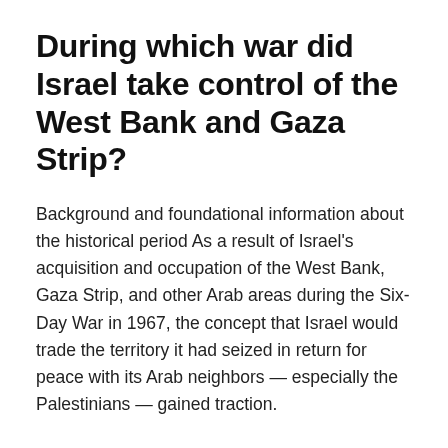During which war did Israel take control of the West Bank and Gaza Strip?
Background and foundational information about the historical period As a result of Israel's acquisition and occupation of the West Bank, Gaza Strip, and other Arab areas during the Six-Day War in 1967, the concept that Israel would trade the territory it had seized in return for peace with its Arab neighbors — especially the Palestinians — gained traction.